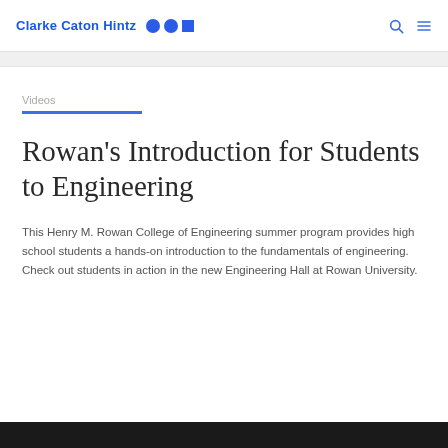Clarke Caton Hintz
Videos
Rowan's Introduction for Students to Engineering
This Henry M. Rowan College of Engineering summer program provides high school students a hands-on introduction to the fundamentals of engineering. Check out students in action in the new Engineering Hall at Rowan University.